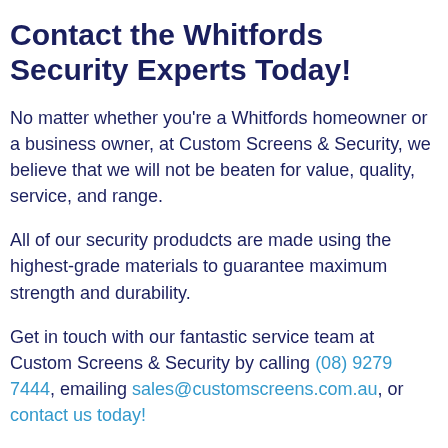Contact the Whitfords Security Experts Today!
No matter whether you're a Whitfords homeowner or a business owner, at Custom Screens & Security, we believe that we will not be beaten for value, quality, service, and range.
All of our security produdcts are made using the highest-grade materials to guarantee maximum strength and durability.
Get in touch with our fantastic service team at Custom Screens & Security by calling (08) 9279 7444, emailing sales@customscreens.com.au, or contact us today!